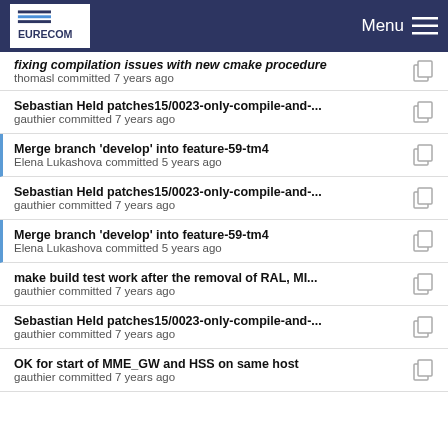EURECOM   Menu
fixing compilation issues with new cmake procedure
thomasl committed 7 years ago
Sebastian Held patches15/0023-only-compile-and-...
gauthier committed 7 years ago
Merge branch 'develop' into feature-59-tm4
Elena Lukashova committed 5 years ago
Sebastian Held patches15/0023-only-compile-and-...
gauthier committed 7 years ago
Merge branch 'develop' into feature-59-tm4
Elena Lukashova committed 5 years ago
make build test work after the removal of RAL, MI...
gauthier committed 7 years ago
Sebastian Held patches15/0023-only-compile-and-...
gauthier committed 7 years ago
OK for start of MME_GW and HSS on same host
gauthier committed 7 years ago